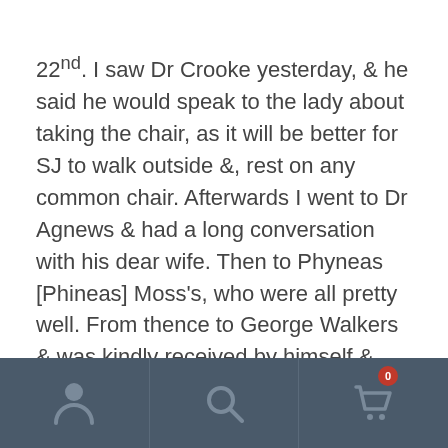22nd. I saw Dr Crooke yesterday, & he said he would speak to the lady about taking the chair, as it will be better for SJ to walk outside &, rest on any common chair. Afterwards I went to Dr Agnews & had a long conversation with his dear wife. Then to Phyneas [Phineas] Moss's, who were all pretty well. From thence to George Walkers & was kindly received by himself & wife I remained to dinner. I was better pleased with them than I have been for a long time, & altogether have reason to be thankful that I had courage to go. Taking farewell of them, I crossed over to Margaret McLaughton's